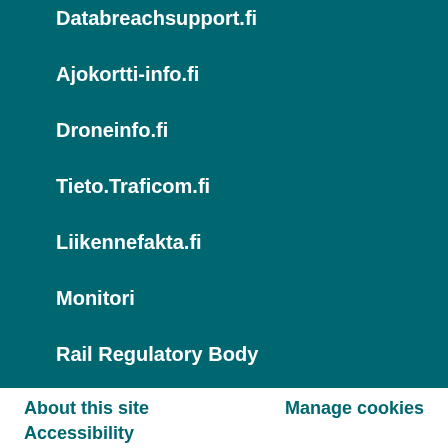Databreachsupport.fi
Ajokortti-info.fi
Droneinfo.fi
Tieto.Traficom.fi
Liikennefakta.fi
Monitori
Rail Regulatory Body
Hdtvopas.fi
About this site   Manage cookies   Accessibility